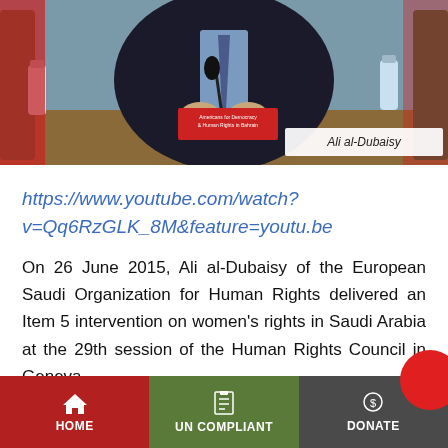[Figure (photo): Photo of Ali al-Dubaisy seated at a conference table with a nameplate reading 'Ali al-Dubaisy' and a red organization logo for Americans for Democracy & Human Rights in Bahrain]
https://www.youtube.com/watch?v=Qq6RzGLK_8M&feature=youtu.be
On 26 June 2015, Ali al-Dubaisy of the European Saudi Organization for Human Rights delivered an Item 5 intervention on women's rights in Saudi Arabia at the 29th session of the Human Rights Council in Geneva.
HOME | UN COMPLIANT | DONATE